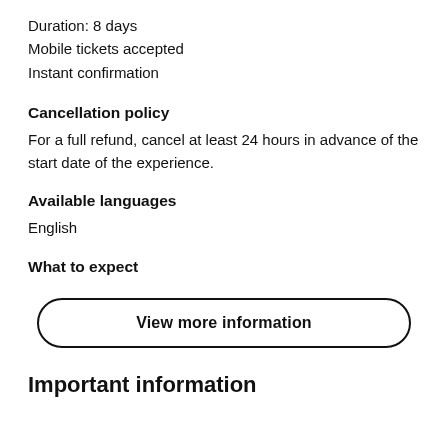Duration: 8 days
Mobile tickets accepted
Instant confirmation
Cancellation policy
For a full refund, cancel at least 24 hours in advance of the start date of the experience.
Available languages
English
What to expect
View more information
Important information